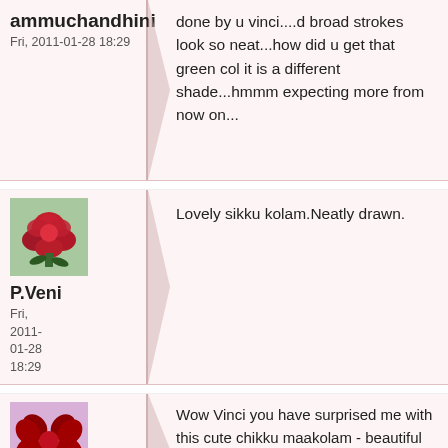ammuchandhini
Fri, 2011-01-28 18:29
done by u vinci....d broad strokes look so neat...how did u get that green col it is a different shade...hmmm expecting more from now on...
[Figure (photo): Red rose profile photo avatar]
P.Veni
Fri, 2011-01-28 18:29
Lovely sikku kolam.Neatly drawn.
[Figure (photo): Red cross/flower decorative avatar on pink background]
Wow Vinci you have surprised me with this cute chikku maakolam - beautiful attempt with good colouring to match